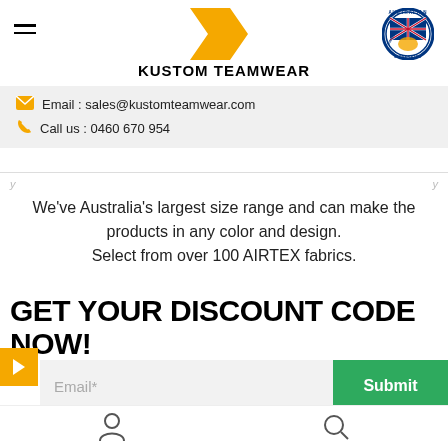[Figure (logo): Kustom Teamwear logo with orange chevron mark and bold text 'KUSTOM TEAMWEAR', plus Australian Owned & Operated badge on the right]
Email : sales@kustomteamwear.com
Call us : 0460 670 954
We've Australia's largest size range and can make the products in any color and design. Select from over 100 AIRTEX fabrics.
GET YOUR DISCOUNT CODE NOW!
Email*
Submit